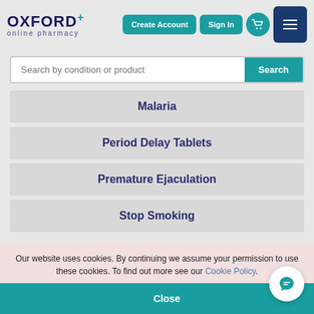[Figure (logo): Oxford+ online pharmacy logo]
[Figure (screenshot): Navigation buttons: Create Account, Sign In, basket icon, menu icon]
Search by condition or product
Malaria
Period Delay Tablets
Premature Ejaculation
Stop Smoking
Our website uses cookies. By continuing we assume your permission to use these cookies. To find out more see our Cookie Policy.
Close